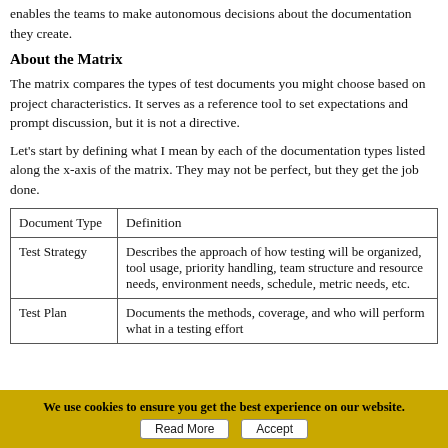enables the teams to make autonomous decisions about the documentation they create.
About the Matrix
The matrix compares the types of test documents you might choose based on project characteristics. It serves as a reference tool to set expectations and prompt discussion, but it is not a directive.
Let's start by defining what I mean by each of the documentation types listed along the x-axis of the matrix. They may not be perfect, but they get the job done.
| Document Type | Definition |
| --- | --- |
| Test Strategy | Describes the approach of how testing will be organized, tool usage, priority handling, team structure and resource needs, environment needs, schedule, metric needs, etc. |
| Test Plan | Documents the methods, coverage, and who will perform what in a testing effort |
We use cookies to ensure you get the best experience on our website.